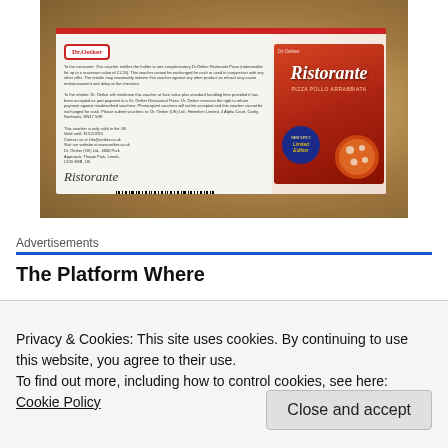[Figure (photo): Photograph of a Dr. Oetker Ristorante coupon/voucher placed on a granite countertop, with a Dr. Oetker Ristorante Pizza Pollo Arrabbiata box visible on the right side of the coupon. The coupon features the Dr. Oetker logo, terms and conditions text, a barcode numbered 9 913523 140003, and the Ristorante script logo. The pizza box shows 'Ristorante' branding and a 'New Spicy Limited Edition' badge.]
Advertisements
The Platform Where
Privacy & Cookies: This site uses cookies. By continuing to use this website, you agree to their use.
To find out more, including how to control cookies, see here: Cookie Policy
Close and accept